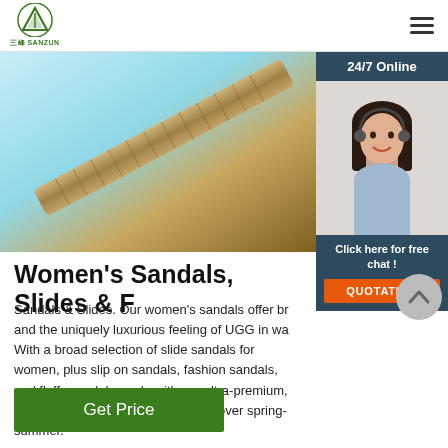SANZUN logo and navigation
[Figure (photo): Close-up photo of a zipper or ruler on a light blue background]
[Figure (photo): 24/7 Online customer support widget showing a smiling woman with headset, with 'Click here for free chat!' text and orange QUOTATION button]
Women's Sandals, Slides & F
Sandals & Slides. Our women's sandals offer br and the uniquely luxurious feeling of UGG in wa With a broad selection of slide sandals for women, plus slip on sandals, fashion sandals, and fluffy sandals made with our ultra-premium, grade-A sheepskin, we've got you cover spring-summer.
Get Price